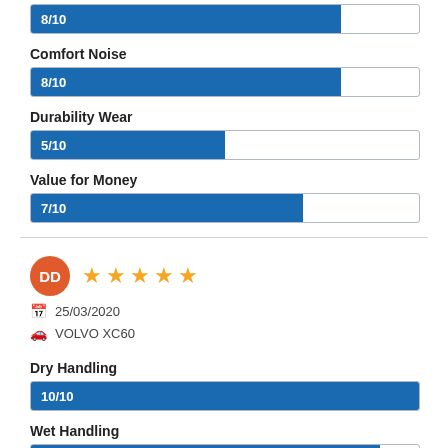[Figure (bar-chart): Score bars (top partial)]
DD
[Figure (other): 5 orange stars rating]
25/03/2020
VOLVO XC60
[Figure (bar-chart): Score bars (bottom)]